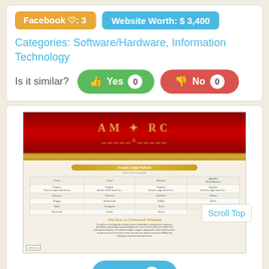Facebook ♡: 3
Website Worth: $ 3,400
Categories: Software/Hardware, Information Technology
Is it similar? Yes 0  No 0
[Figure (screenshot): Screenshot of AMORC website showing a red header with gold winged symbol and 'AMORC' text, navigation bar, 'Grand Lodge Website' title, a table listing countries/languages, 'The Key to Universal Wisdom' section with body text, and a 'Discover The Order' button. sitelike.org watermark visible.]
Scroll Top
Like 0